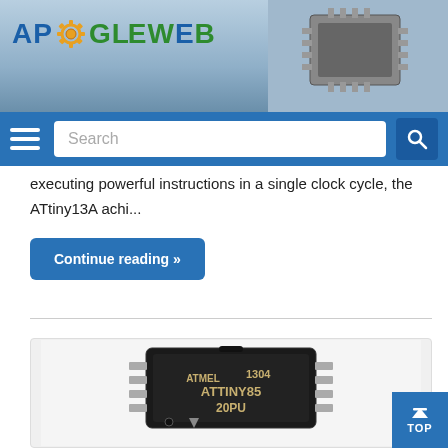[Figure (logo): APOGLEWEB logo with gear icon, blue and green text]
[Figure (photo): Close-up photo of a microchip/IC in top-right header background]
[Figure (screenshot): Navigation bar with hamburger menu, search box, and search icon button]
executing powerful instructions in a single clock cycle, the ATtiny13A achi...
Continue reading »
[Figure (photo): Photo of an Atmel ATtiny85 20PU DIP-8 microcontroller chip, black IC package with pins visible, dated 1304]